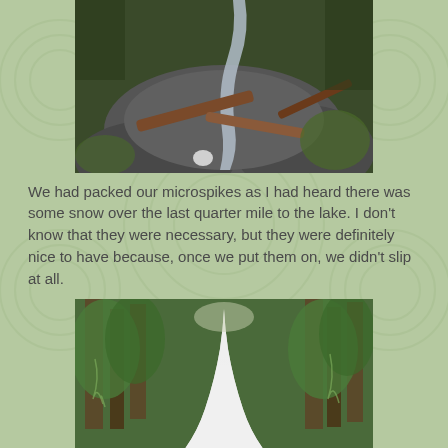[Figure (photo): A waterfall cascading over dark rocky terrain with fallen logs and debris in the foreground, surrounded by mossy rocks and forest vegetation.]
We had packed our microspikes as I had heard there was some snow over the last quarter mile to the lake. I don't know that they were necessary, but they were definitely nice to have because, once we put them on, we didn't slip at all.
[Figure (photo): A snow-covered trail winding through a green coniferous forest with moss-draped trees on either side, showing a bright white snow path.]